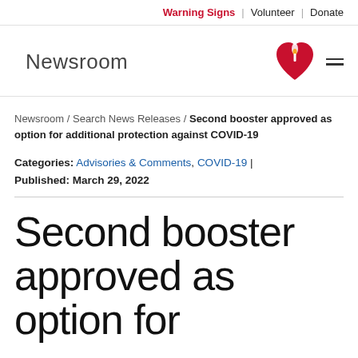Warning Signs | Volunteer | Donate
Newsroom
[Figure (logo): American Heart Association heart with torch logo and hamburger menu icon]
Newsroom / Search News Releases / Second booster approved as option for additional protection against COVID-19
Categories: Advisories & Comments, COVID-19 | Published: March 29, 2022
Second booster approved as option for